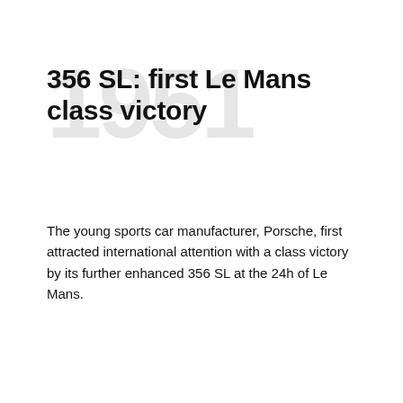356 SL: first Le Mans class victory
The young sports car manufacturer, Porsche, first attracted international attention with a class victory by its further enhanced 356 SL at the 24h of Le Mans.